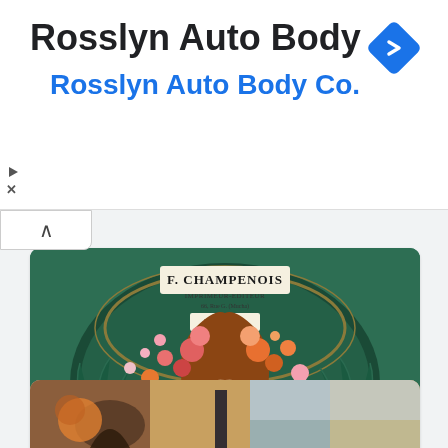Rosslyn Auto Body
Rosslyn Auto Body Co.
[Figure (screenshot): Mobile browser screenshot showing an ad for Rosslyn Auto Body at the top and a Google Discover card about Art Nouveau below it, featuring an Alphonse Mucha-style poster illustration of a woman with flowers.]
Interesting facts about Art Nouveau